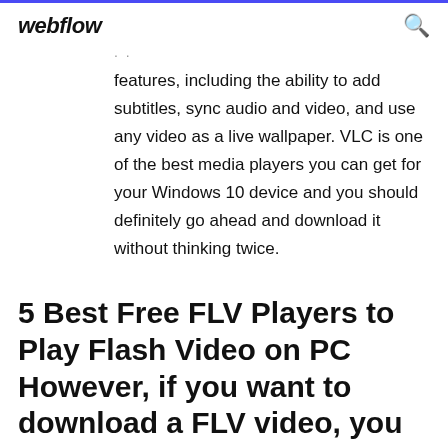webflow
features, including the ability to add subtitles, sync audio and video, and use any video as a live wallpaper. VLC is one of the best media players you can get for your Windows 10 device and you should definitely go ahead and download it without thinking twice.
5 Best Free FLV Players to Play Flash Video on PC However, if you want to download a FLV video, you can't do without a FLV converter in order The app also